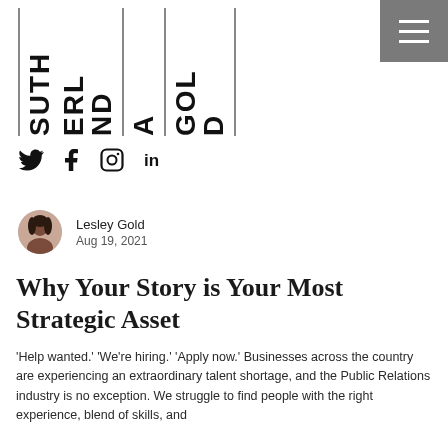[Figure (logo): Sutherland Gold logo with vertical text columns separated by vertical lines, spelling SUTHERLAND GOLD]
[Figure (other): Hamburger menu icon (three horizontal lines) on grey background, top right corner]
[Figure (other): Social media icons: Twitter bird, Facebook f, Instagram circle, LinkedIn in]
Lesley Gold
Aug 19, 2021
Why Your Story is Your Most Strategic Asset
'Help wanted.' 'We're hiring.' 'Apply now.' Businesses across the country are experiencing an extraordinary talent shortage, and the Public Relations industry is no exception. We struggle to find people with the right experience, blend of skills, and